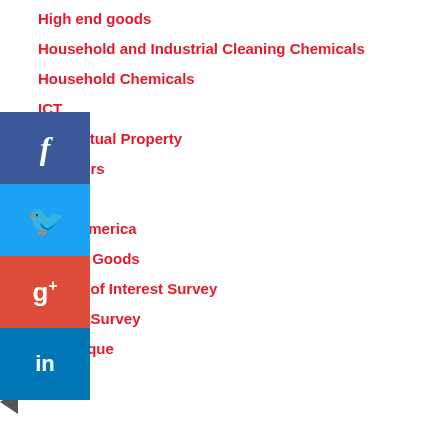High end goods
Household and Industrial Cleaning Chemicals
Household Chemicals
ICT
Intellectual Property
Investors
Latin America
Latin America
Luxury Goods
Market of Interest Survey
Market Survey
Martinique